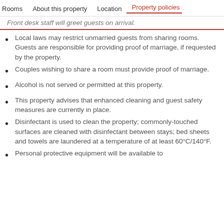Rooms | About this property | Location | Property policies
Front desk staff will greet guests on arrival.
Local laws may restrict unmarried guests from sharing rooms. Guests are responsible for providing proof of marriage, if requested by the property.
Couples wishing to share a room must provide proof of marriage.
Alcohol is not served or permitted at this property.
This property advises that enhanced cleaning and guest safety measures are currently in place.
Disinfectant is used to clean the property; commonly-touched surfaces are cleaned with disinfectant between stays; bed sheets and towels are laundered at a temperature of at least 60°C/140°F.
Personal protective equipment will be available to